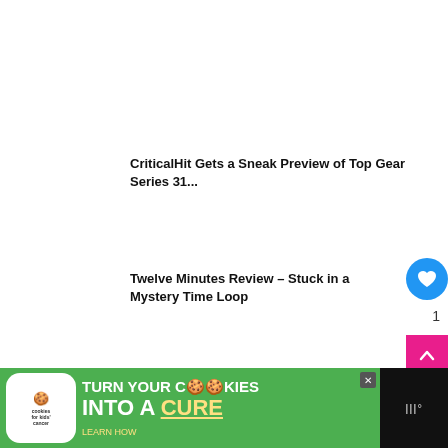CriticalHit Gets a Sneak Preview of Top Gear Series 31...
Twelve Minutes Review – Stuck in a Mystery Time Loop
Cris Tales Reviews – Present, Past and Future Collide
[Figure (infographic): Blue circular heart/like button floating on right side]
1
[Figure (infographic): Pink scroll-to-top arrow button]
[Figure (infographic): WHAT'S NEXT panel with Pokemon image and text 'What is a core...']
[Figure (infographic): Advertisement banner: cookies for kids cancer - turn your cookies into a CURE LEARN HOW]